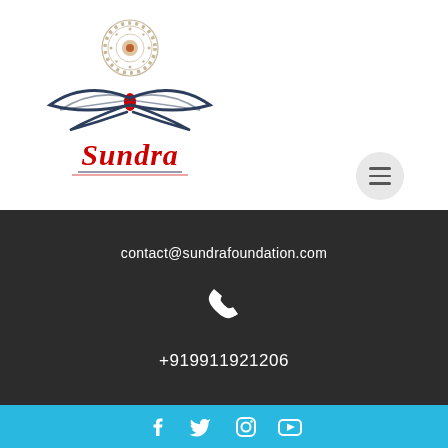[Figure (logo): Sundra Foundation logo with decorative mandala and lotus/leaf motif in dark navy and red, with red script text 'Sundra' below]
[Figure (other): Hamburger menu button (three horizontal lines) in a light grey circle]
contact@sundrafoundation.com
[Figure (other): White telephone/phone icon]
+919911921206
[Figure (other): Social media icons row: Facebook, Twitter, Instagram, YouTube — all white on blue background]